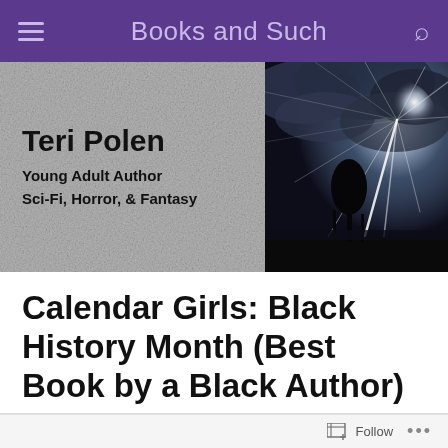Books and Such
[Figure (illustration): Website banner with two panels: left panel shows a gray textured background with bold text 'Teri Polen / Young Adult Author / Sci-Fi, Horror, & Fantasy'; right panel shows a dramatic storm scene with lightning radiating from clouds and a dark tree silhouette.]
Calendar Girls: Black History Month (Best Book by a Black Author)
Follow ...